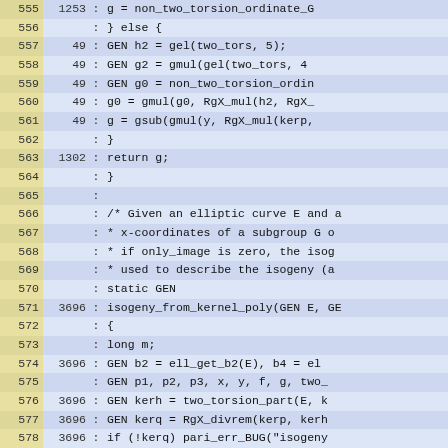[Figure (screenshot): Source code viewer showing lines 555-584 of a C file, with line numbers in yellow column, hit counts in blue-highlighted area, and code content. Lines with counts include 1253, 49, 49, 49, 49, 49, 1302, 3696, 3696, 3696, 3696, 3696, 3696, 3696, 3696, 3696, 3696. Code includes functions non_two_torsion_ordinate, gel, gmul, gsub, return g, isogeny_from_kernel_poly, ell_get_b2, two_torsion_part, RgX_divrem, degpol, RgX_normalize.]